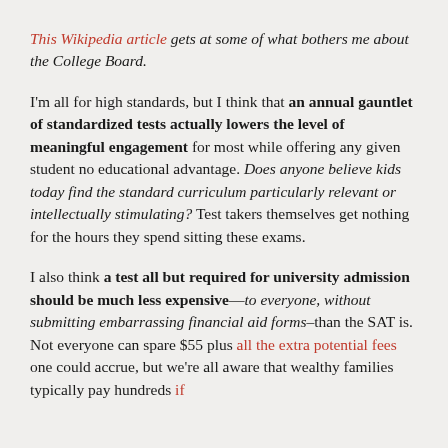This Wikipedia article gets at some of what bothers me about the College Board.
I'm all for high standards, but I think that an annual gauntlet of standardized tests actually lowers the level of meaningful engagement for most while offering any given student no educational advantage. Does anyone believe kids today find the standard curriculum particularly relevant or intellectually stimulating? Test takers themselves get nothing for the hours they spend sitting these exams.
I also think a test all but required for university admission should be much less expensive—to everyone, without submitting embarrassing financial aid forms–than the SAT is. Not everyone can spare $55 plus all the extra potential fees one could accrue, but we're all aware that wealthy families typically pay hundreds if not thousands more for "optional" test prep and multiple